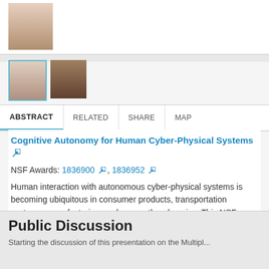[Figure (photo): Author profile photo (top), partially visible]
[Figure (photo): Two small author profile photos in a row]
ABSTRACT    RELATED    SHARE    MAP
Cognitive Autonomy for Human Cyber-Physical Systems
NSF Awards: 1836900, 1836952
Human interaction with autonomous cyber-physical systems is becoming ubiquitous in consumer products, transportation systems, manufacturing, and many other domains. This NSF Cyber-Physical Systems program Frontier award, “Cognitive Autonomy for Human CPS: Turning Novices into Experts,” seeks constructive methods to answer the question: How can we design cyber-physical systems to
See all
DISCUSSION (10)
Public Discussion
Starting the discussion of this presentation on the Multipl...